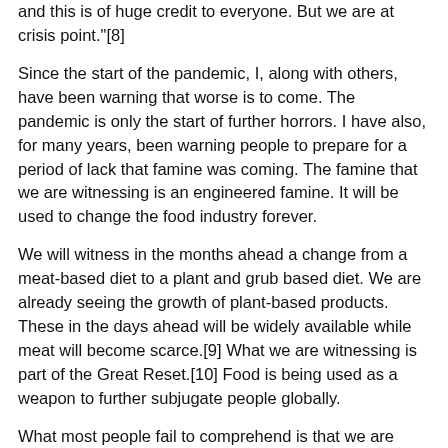and this is of huge credit to everyone. But we are at crisis point."[8]
Since the start of the pandemic, I, along with others, have been warning that worse is to come. The pandemic is only the start of further horrors. I have also, for many years, been warning people to prepare for a period of lack that famine was coming. The famine that we are witnessing is an engineered famine. It will be used to change the food industry forever.
We will witness in the months ahead a change from a meat-based diet to a plant and grub based diet. We are already seeing the growth of plant-based products. These in the days ahead will be widely available while meat will become scarce.[9] What we are witnessing is part of the Great Reset.[10] Food is being used as a weapon to further subjugate people globally.
What most people fail to comprehend is that we are witnessing through the pandemic and the subsequent food shortages, the planned rollout and establishment of the Beast system prophesied in the Bible. This system will see